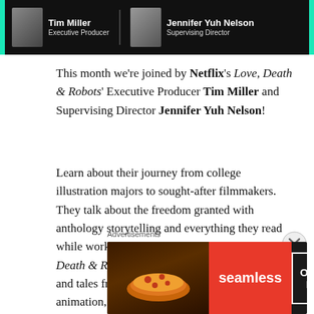[Figure (photo): Banner showing Tim Miller (Executive Producer) and Jennifer Yuh Nelson (Supervising Director) on a dark background with teal/green border]
This month we're joined by Netflix's Love, Death & Robots' Executive Producer Tim Miller and Supervising Director Jennifer Yuh Nelson!
Learn about their journey from college illustration majors to sought-after filmmakers. They talk about the freedom granted with anthology storytelling and everything they read while working on the new volume of Love, Death & Robots. From priceless career advice and tales from the early days of computer animation, this is an episode you won't want
Advertisements
[Figure (photo): Seamless food delivery advertisement showing pizza with ORDER NOW button]